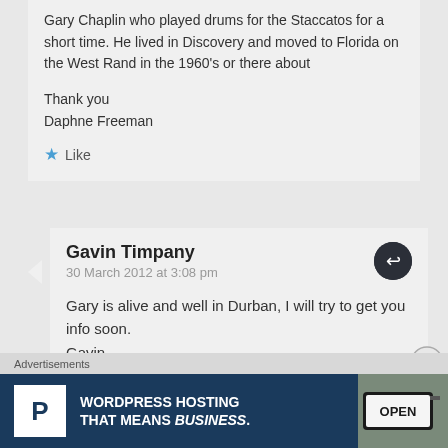Gary Chaplin who played drums for the Staccatos for a short time. He lived in Discovery and moved to Florida on the West Rand in the 1960's or there about

Thank you
Daphne Freeman
Like
Gavin Timpany
30 March 2012 at 3:08 pm
Gary is alive and well in Durban, I will try to get you info soon.
Gavin.
Advertisements
[Figure (infographic): WordPress Hosting advertisement banner with dark blue background, white P logo box, text 'WORDPRESS HOSTING THAT MEANS BUSINESS.' and a photo of an OPEN sign on the right.]